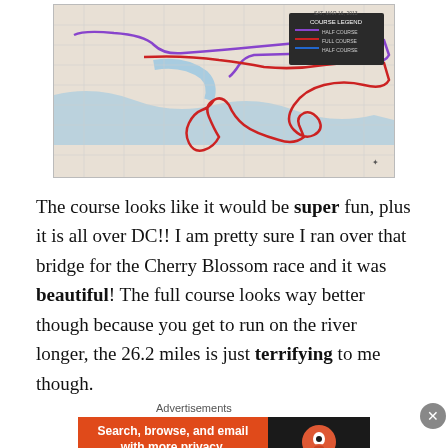[Figure (map): A race course map of Washington DC showing a route drawn in red and purple lines over a street/topographic map with the Potomac River visible. A course legend box is visible in the upper right area.]
The course looks like it would be super fun, plus it is all over DC!! I am pretty sure I ran over that bridge for the Cherry Blossom race and it was beautiful! The full course looks way better though because you get to run on the river longer, the 26.2 miles is just terrifying to me though.
Advertisements
[Figure (screenshot): DuckDuckGo advertisement banner: left orange section reads 'Search, browse, and email with more privacy. All in One Free App', right dark section shows DuckDuckGo logo and name.]